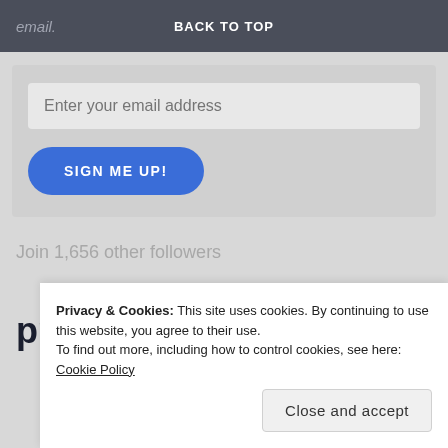email.   BACK TO TOP
[Figure (screenshot): Email signup form with text input field labeled 'Enter your email address' and a blue rounded button labeled 'SIGN ME UP!']
Join 1,656 other followers
premrao
Privacy & Cookies: This site uses cookies. By continuing to use this website, you agree to their use.
To find out more, including how to control cookies, see here: Cookie Policy
Close and accept